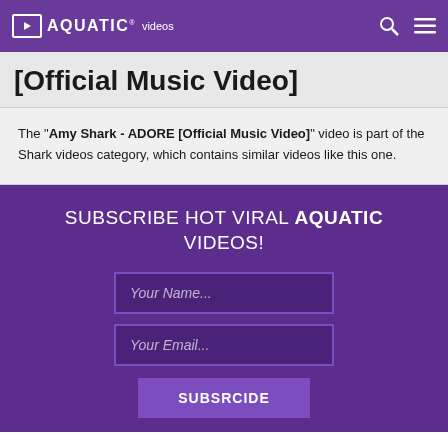AQUATIC videos
[Official Music Video]
The "Amy Shark - ADORE [Official Music Video]" video is part of the Shark videos category, which contains similar videos like this one.
SUBSCRIBE HOT VIRAL AQUATIC VIDEOS!
Your Name...
Your Email...
SUBSRCIDE